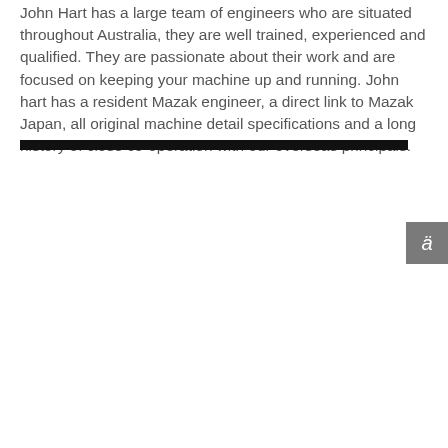John Hart has a large team of engineers who are situated throughout Australia, they are well trained, experienced and qualified. They are passionate about their work and are focused on keeping your machine up and running. John hart has a resident Mazak engineer, a direct link to Mazak Japan, all original machine detail specifications and a long history of close co-operation with our overseas principals.
[Figure (other): A dark/black horizontal divider bar]
[Figure (other): A small dark grey square badge with a stylized italic letter 'a' with accent mark, positioned at the right edge of the page]